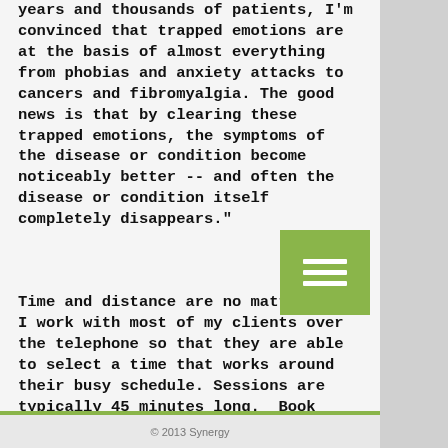years and thousands of patients, I'm convinced that trapped emotions are at the basis of almost everything from phobias and anxiety attacks to cancers and fibromyalgia. The good news is that by clearing these trapped emotions, the symptoms of the disease or condition become noticeably better -- and often the disease or condition itself completely disappears."
Time and distance are no matter, as I work with most of my clients over the telephone so that they are able to select a time that works around their busy schedule. Sessions are typically 45 minutes long.  Book your session by calling or Text Shirley at 780-933-2044.
© 2013 Synergy